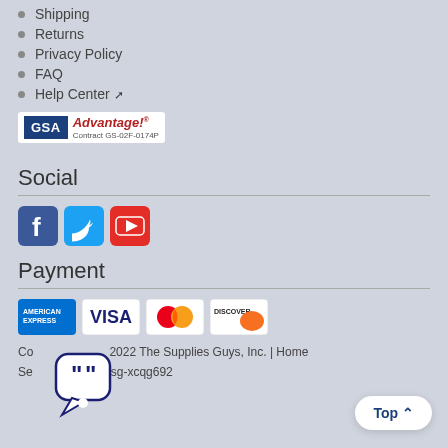Shipping
Returns
Privacy Policy
FAQ
Help Center
[Figure (logo): GSA Advantage! logo with Contract GS-02F-0174P]
Social
[Figure (infographic): Social media icons: Facebook (blue), Twitter (light blue), YouTube (red)]
Payment
[Figure (infographic): Payment card icons: American Express, Visa, MasterCard, Discover]
Copyright 2022 The Supplies Guys, Inc. | Home
Session: tsg-xcqg692